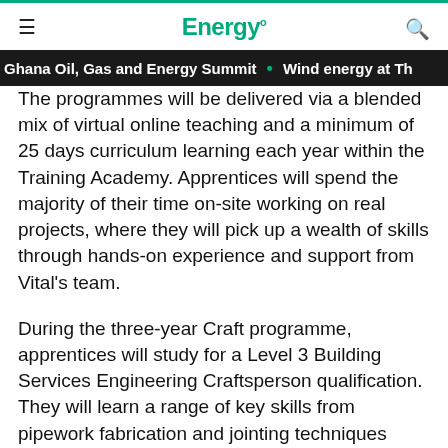Energy.
Ghana Oil, Gas and Energy Summit • Wind energy at Th
The programmes will be delivered via a blended mix of virtual online teaching and a minimum of 25 days curriculum learning each year within the Training Academy. Apprentices will spend the majority of their time on-site working on real projects, where they will pick up a wealth of skills through hands-on experience and support from Vital's team.
During the three-year Craft programme, apprentices will study for a Level 3 Building Services Engineering Craftsperson qualification. They will learn a range of key skills from pipework fabrication and jointing techniques such as electro fusion jointing, to welding, the installation of plumbing and heating systems, and more.
At the end of the Technical programme apprentices